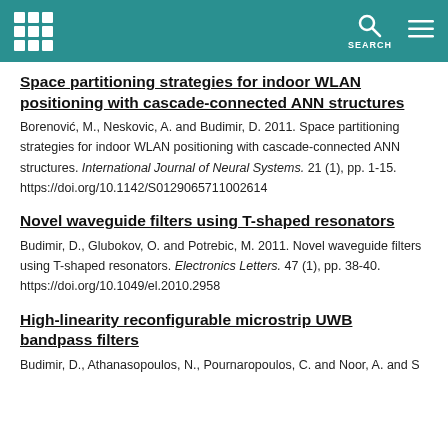Navigation header with logo, search, and menu
Space partitioning strategies for indoor WLAN positioning with cascade-connected ANN structures
Borenović, M., Neskovic, A. and Budimir, D. 2011. Space partitioning strategies for indoor WLAN positioning with cascade-connected ANN structures. International Journal of Neural Systems. 21 (1), pp. 1-15. https://doi.org/10.1142/S0129065711002614
Novel waveguide filters using T-shaped resonators
Budimir, D., Glubokov, O. and Potrebic, M. 2011. Novel waveguide filters using T-shaped resonators. Electronics Letters. 47 (1), pp. 38-40. https://doi.org/10.1049/el.2010.2958
High-linearity reconfigurable microstrip UWB bandpass filters